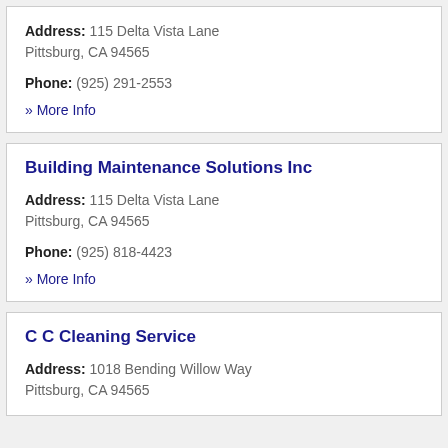Address: 115 Delta Vista Lane Pittsburg, CA 94565
Phone: (925) 291-2553
» More Info
Building Maintenance Solutions Inc
Address: 115 Delta Vista Lane Pittsburg, CA 94565
Phone: (925) 818-4423
» More Info
C C Cleaning Service
Address: 1018 Bending Willow Way Pittsburg, CA 94565